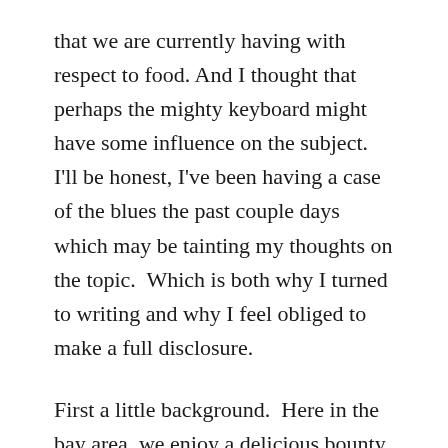that we are currently having with respect to food. And I thought that perhaps the mighty keyboard might have some influence on the subject.  I'll be honest, I've been having a case of the blues the past couple days which may be tainting my thoughts on the topic.  Which is both why I turned to writing and why I feel obliged to make a full disclosure.
First a little background.  Here in the bay area, we enjoy a delicious bounty of food year round.  Given my frequent visits to the farmers' market and our membership in Full Belly's CSA program, I have a pretty good sense of what is available throughout the seasons a local level.  I am a fairly conscientious eater, I have been choosing organic for years, local now almost entirely, and my methods of food preparation are becoming more